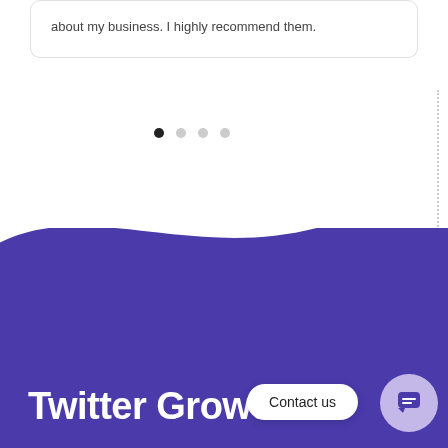about my business. I highly recommend them.
[Figure (other): Carousel navigation dots — one filled black dot (active) and three grey dots]
[Figure (illustration): Purple background section with wave shape at top, containing the heading 'Twitter Gro...' (Twitter Growth), a 'Contact us' button, and a chat widget button.]
Twitter Growth